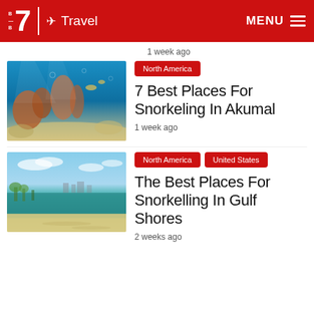B7 | ✈ Travel   MENU
1 week ago
[Figure (photo): Underwater coral reef snorkeling scene with coral, sea fans, fish and sandy bottom]
North America
7 Best Places For Snorkeling In Akumal
1 week ago
[Figure (photo): Aerial view of a beach coastline with turquoise water, white sand, and a distant cityscape]
North America   United States
The Best Places For Snorkelling In Gulf Shores
2 weeks ago